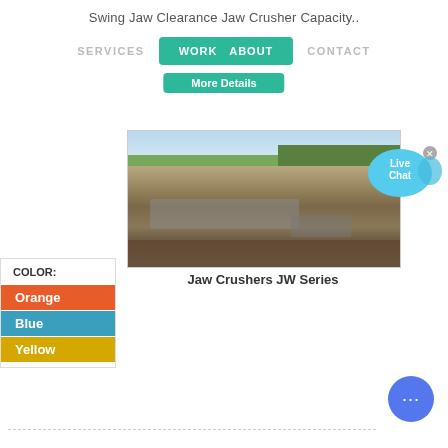Swing Jaw Clearance Jaw Crusher Capacity..
SERVICES   WORK   ABOUT   CONTACT
More Details
[Figure (photo): Aerial/elevated view of a jaw crusher site with machinery, stockpiles, and surrounding trees and open ground. Caption: Jaw Crushers JW Series]
Jaw Crushers JW Series
COLOR:
Orange
Blue
Yellow
[Figure (infographic): Live Chat bubble icon in cyan/teal color with 'Live Chat' text and a close X button]